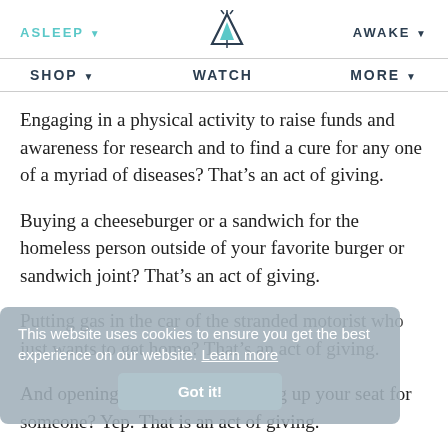ASLEEP ▼  [teepee logo]  AWAKE ▼
SHOP ▼  WATCH  MORE ▼
Engaging in a physical activity to raise funds and awareness for research and to find a cure for any one of a myriad of diseases? That's an act of giving.
Buying a cheeseburger or a sandwich for the homeless person outside of your favorite burger or sandwich joint? That's an act of giving.
This website uses cookies to ensure you get the best experience on our website. Learn more
Got it!
Putting gas in the car of the stranded motorist who just wants to get home? That's an act of giving.
And opening the door for or giving up your seat for someone? Yep. That is an act of giving.